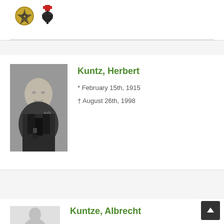[Figure (illustration): Two military medal icons: a golden badge with swastika and a black Iron Cross with red ribbon, for previous entry]
[Figure (photo): Black and white portrait photo of Herbert Kuntz in military uniform with cross medal]
Kuntz, Herbert
* February 15th, 1915
† August 26th, 1998
[Figure (illustration): Two military medal icons: a golden badge with swastika and a black Iron Cross with red ribbon, for Kuntz Herbert]
[Figure (illustration): Gray silhouette placeholder portrait for Kuntze Albrecht]
Kuntze, Albrecht
* December 25th, 1912
† July 5th, 1943